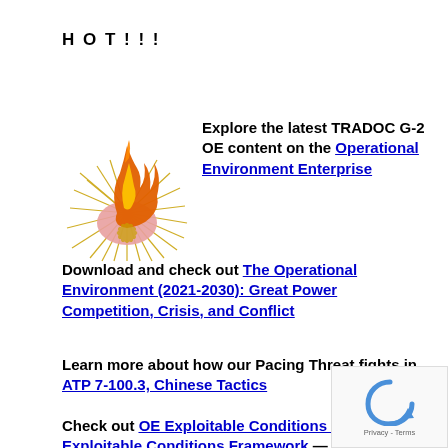HOT!!!
[Figure (illustration): Flame/fire illustration with radiating lines, resembling a stylized burning heart or sun shape in orange and gold tones]
Explore the latest TRADOC G-2 OE content on the Operational Environment Enterprise
Download and check out The Operational Environment (2021-2030): Great Power Competition, Crisis, and Conflict
Learn more about how our Pacing Threat fights in ATP 7-100.3, Chinese Tactics
Check out OE Exploitable Conditions 2028 – Exploitable Conditions Framework — TRADOC G-2's